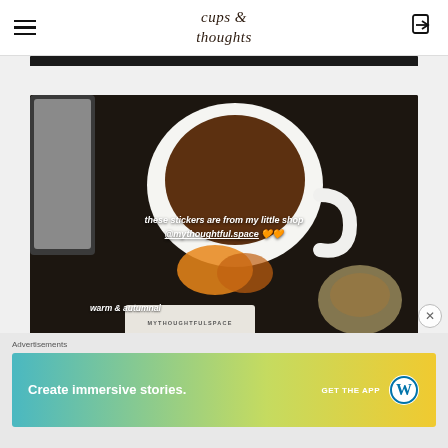cups & thoughts — navigation header with hamburger menu and login icon
[Figure (photo): Overhead view of a white coffee/tea mug on a dark surface next to a smaller cup, with text overlay reading 'these stickers are from my little shop @mythoughtful.space' with orange heart emojis, and 'warm & autumnal' at the bottom with a card reading MYTHOUGHTFULSPACE]
Advertisements
[Figure (screenshot): WordPress advertisement banner with gradient background (blue to yellow-green). Text: 'Create immersive stories.' with 'GET THE APP' and WordPress logo on the right.]